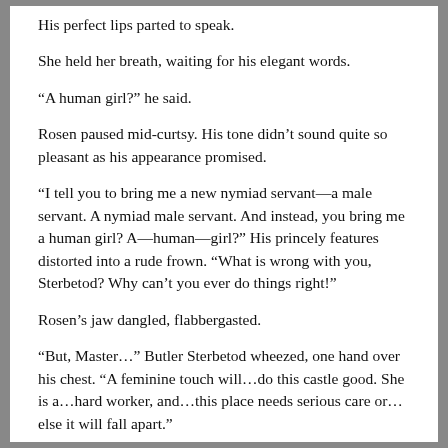His perfect lips parted to speak.
She held her breath, waiting for his elegant words.
“A human girl?” he said.
Rosen paused mid-curtsy. His tone didn’t sound quite so pleasant as his appearance promised.
“I tell you to bring me a new nymiad servant—a male servant. A nymiad male servant. And instead, you bring me a human girl? A—human—girl?” His princely features distorted into a rude frown. “What is wrong with you, Sterbetod? Why can’t you ever do things right!”
Rosen’s jaw dangled, flabbergasted.
“But, Master…” Butler Sterbetod wheezed, one hand over his chest. “A feminine touch will…do this castle good. She is a…hard worker, and…this place needs serious care or…else it will fall apart.”
He did his eyes on her, and she lowered her gaze.